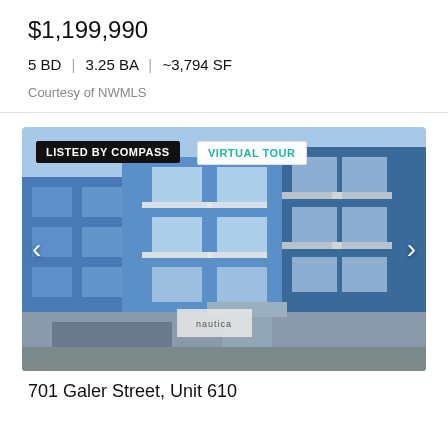$1,199,990
5 BD  |  3.25 BA  |  ~3,794 SF
Courtesy of NWMLS
[Figure (photo): Exterior photo of a multi-story blue modern condominium building named 'nautica', with balconies, large windows, and a garage entrance. Overlaid badges read 'LISTED BY COMPASS' and 'VIRTUAL TOUR'. Navigation arrows on left and right sides.]
701 Galer Street, Unit 610